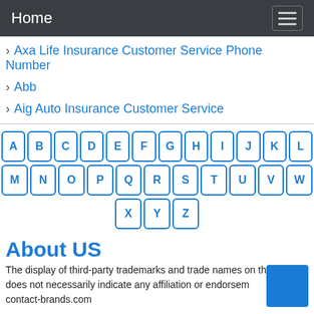Home
Axa Life Insurance Customer Service Phone Number
Abb
Aig Auto Insurance Customer Service
[Figure (infographic): Alphabet keyboard with letters A-Z as individual rounded square buttons arranged in three rows]
About US
The display of third-party trademarks and trade names on this site does not necessarily indicate any affiliation or endorsement of contact-brands.com